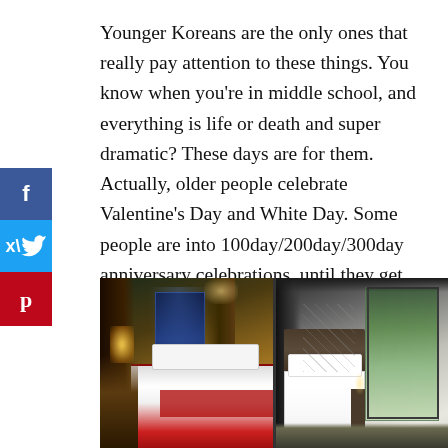Younger Koreans are the only ones that really pay attention to these things. You know when you're in middle school, and everything is life or death and super dramatic? These days are for them. Actually, older people celebrate Valentine's Day and White Day. Some people are into 100day/200day/300day anniversary celebrations, until they get married. But an old fart like me (I'm 30) couldn't care less! Plus, I'm mega anti-romance.
[Figure (photo): Two hotel room photos side by side. Left: warm-toned hotel room with a bed featuring red and white bedding, curtains, and a city view through the window at night. Right: lighter-toned hotel room with white bedding, dark headboard, curtains, and a green outdoor view through floor-to-ceiling windows.]